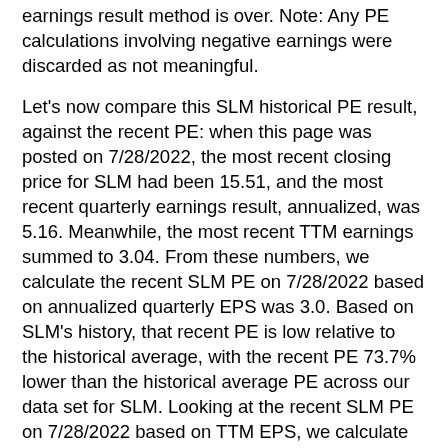earnings result method is over. Note: Any PE calculations involving negative earnings were discarded as not meaningful.
Let's now compare this SLM historical PE result, against the recent PE: when this page was posted on 7/28/2022, the most recent closing price for SLM had been 15.51, and the most recent quarterly earnings result, annualized, was 5.16. Meanwhile, the most recent TTM earnings summed to 3.04. From these numbers, we calculate the recent SLM PE on 7/28/2022 based on annualized quarterly EPS was 3.0. Based on SLM's history, that recent PE is low relative to the historical average, with the recent PE 73.7% lower than the historical average PE across our data set for SLM. Looking at the recent SLM PE on 7/28/2022 based on TTM EPS, we calculate the ratio at 5.1. Based on SLM's history, that recent PE is low relative to the historical average, with the recent PE 48.0% lower than the average PE across our SLM data set with TTM EPS used in the calculation at each period.